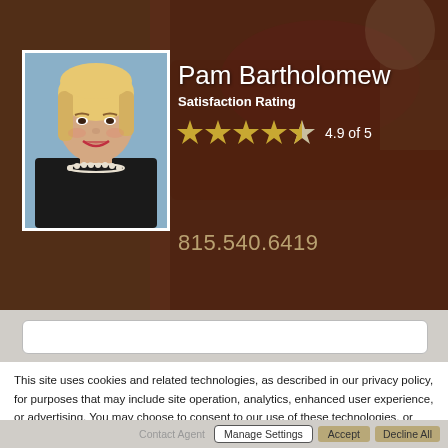[Figure (photo): Background image of an ornate room with red/burgundy furniture, partially visible behind agent photo and overlay]
[Figure (photo): Headshot of Pam Bartholomew, a woman with blonde hair wearing a black jacket and pearl necklace, smiling]
Pam Bartholomew
Satisfaction Rating
[Figure (other): 4.5 gold stars rating display showing 4.9 of 5]
815.540.6419
This site uses cookies and related technologies, as described in our privacy policy, for purposes that may include site operation, analytics, enhanced user experience, or advertising. You may choose to consent to our use of these technologies, or manage your own preferences.